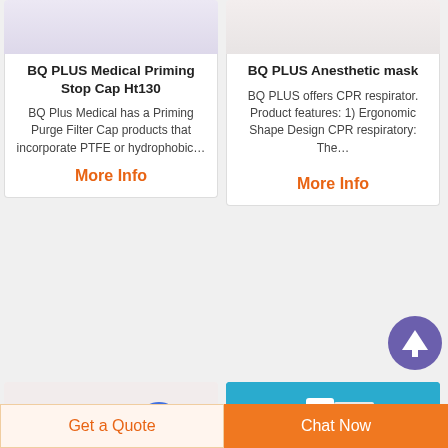[Figure (photo): BQ PLUS Medical Priming Stop Cap Ht130 product image (partial, top of card)]
BQ PLUS Medical Priming Stop Cap Ht130
BQ Plus Medical has a Priming Purge Filter Cap products that incorporate PTFE or hydrophobic…
More Info
[Figure (photo): BQ PLUS Anesthetic mask product image (partial, top of card)]
BQ PLUS Anesthetic mask
BQ PLUS offers CPR respirator. Product features: 1) Ergonomic Shape Design CPR respiratory: The…
More Info
[Figure (illustration): Scroll-to-top purple circular button with upward arrow]
[Figure (photo): Medical stopcock / three-way valve products in red, yellow and blue colors]
[Figure (photo): Medical guide wire / catheter set on blue background]
Get a Quote
Chat Now